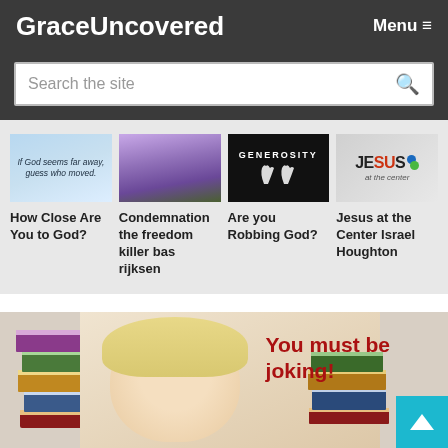GraceUncovered
Menu ≡
Search the site
[Figure (screenshot): Card image: sky with text 'If God seems far away, guess who moved.']
How Close Are You to God?
[Figure (photo): Card image: purple flower tunnel with people walking through]
Condemnation the freedom killer bas rijksen
[Figure (photo): Card image: black background with white text GENEROSITY and two hands raised]
Are you Robbing God?
[Figure (logo): Card image: Jesus at the Center logo on gray background]
Jesus at the Center Israel Houghton
[Figure (photo): Banner image: child with blonde hair resting chin on hand, surrounded by stacks of books, with red bold text 'You must be joking!']
You must be joking!